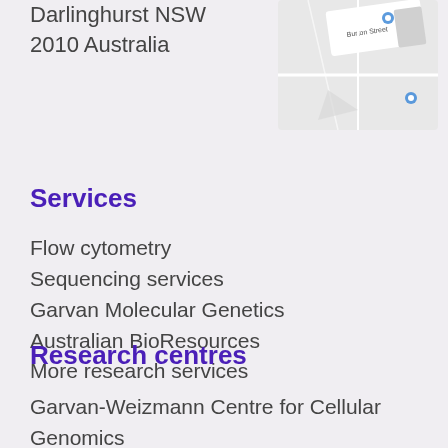Darlinghurst NSW
2010 Australia
[Figure (map): Partial map screenshot showing location with blue pin markers and street label 'Burton Street']
Services
Flow cytometry
Sequencing services
Garvan Molecular Genetics
Australian BioResources
More research services
Research centres
Garvan-Weizmann Centre for Cellular Genomics